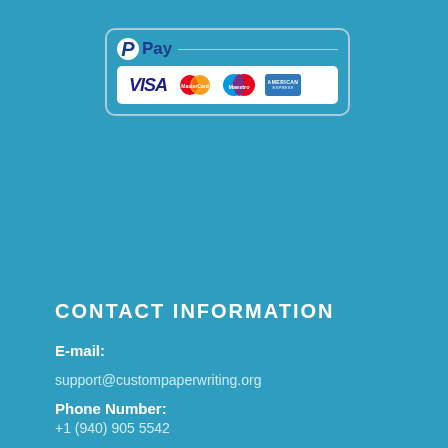[Figure (logo): PayPal Pay logo with VISA, MasterCard, Maestro, and American Express card logos inside a rounded rectangle border]
CONTACT INFORMATION
E-mail:
support@custompaperwriting.org
Phone Number:
+1 (940) 905 5542